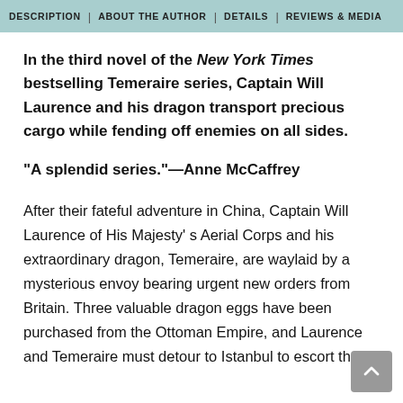DESCRIPTION | ABOUT THE AUTHOR | DETAILS | REVIEWS & MEDIA
In the third novel of the New York Times bestselling Temeraire series, Captain Will Laurence and his dragon transport precious cargo while fending off enemies on all sides.
"A splendid series."—Anne McCaffrey
After their fateful adventure in China, Captain Will Laurence of His Majesty's Aerial Corps and his extraordinary dragon, Temeraire, are waylaid by a mysterious envoy bearing urgent new orders from Britain. Three valuable dragon eggs have been purchased from the Ottoman Empire, and Laurence and Temeraire must detour to Istanbul to escort the